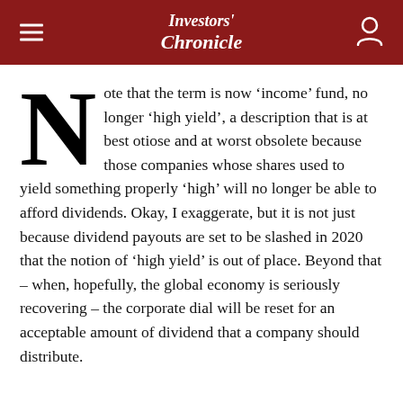Investors' Chronicle
Note that the term is now ‘income’ fund, no longer ‘high yield’, a description that is at best otiose and at worst obsolete because those companies whose shares used to yield something properly ‘high’ will no longer be able to afford dividends. Okay, I exaggerate, but it is not just because dividend payouts are set to be slashed in 2020 that the notion of ‘high yield’ is out of place. Beyond that – when, hopefully, the global economy is seriously recovering – the corporate dial will be reset for an acceptable amount of dividend that a company should distribute.